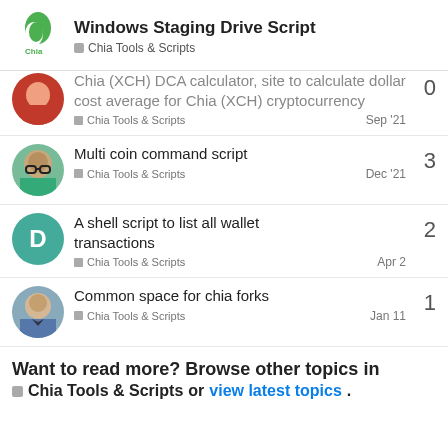Windows Staging Drive Script — Chia Tools & Scripts
Chia (XCH) DCA calculator, site to calculate dollar cost average for Chia (XCH) cryptocurrency — Chia Tools & Scripts — Sep '21 — 0 replies
Multi coin command script — Chia Tools & Scripts — Dec '21 — 3 replies
A shell script to list all wallet transactions — Chia Tools & Scripts — Apr 2 — 2 replies
Common space for chia forks — Chia Tools & Scripts — Jan 11 — 1 reply
Want to read more? Browse other topics in Chia Tools & Scripts or view latest topics.